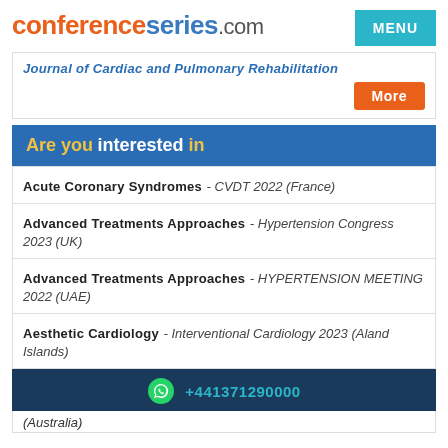conferenceseries.com MENU
Journal of Cardiac and Pulmonary Rehabilitation
More
Are you interested in
Acute Coronary Syndromes - CVDT 2022 (France)
Advanced Treatments Approaches - Hypertension Congress 2023 (UK)
Advanced Treatments Approaches - HYPERTENSION MEETING 2022 (UAE)
Aesthetic Cardiology - Interventional Cardiology 2023 (Aland Islands)
+441371290000
(Australia)